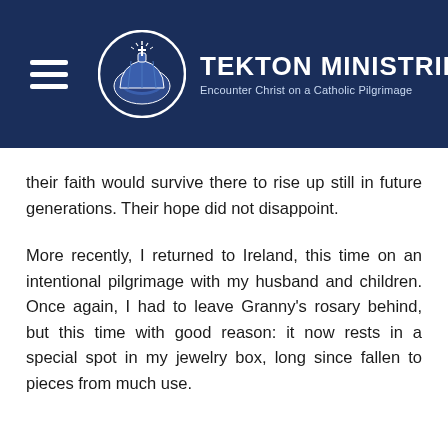[Figure (logo): Tekton Ministries logo with hamburger menu icon, circular church dome icon, organization name 'TEKTON MINISTRIES' and tagline 'Encounter Christ on a Catholic Pilgrimage' on dark navy background]
their faith would survive there to rise up still in future generations. Their hope did not disappoint.
More recently, I returned to Ireland, this time on an intentional pilgrimage with my husband and children. Once again, I had to leave Granny's rosary behind, but this time with good reason: it now rests in a special spot in my jewelry box, long since fallen to pieces from much use.